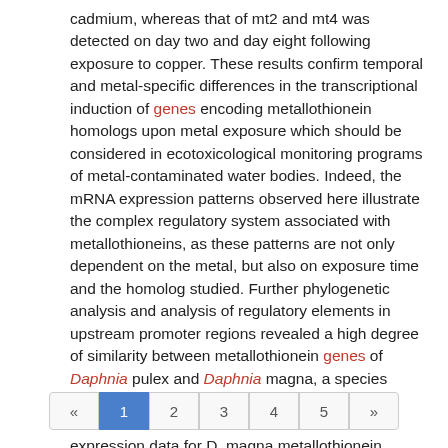cadmium, whereas that of mt2 and mt4 was detected on day two and day eight following exposure to copper. These results confirm temporal and metal-specific differences in the transcriptional induction of genes encoding metallothionein homologs upon metal exposure which should be considered in ecotoxicological monitoring programs of metal-contaminated water bodies. Indeed, the mRNA expression patterns observed here illustrate the complex regulatory system associated with metallothioneins, as these patterns are not only dependent on the metal, but also on exposure time and the homolog studied. Further phylogenetic analysis and analysis of regulatory elements in upstream promoter regions revealed a high degree of similarity between metallothionein genes of Daphnia pulex and Daphnia magna, a species belonging to the same genus. These findings, combined with a limited amount of available expression data for D. magna metallothionein genes, tentatively suggest a potential generalization of the metallothionein response system between these Daphnia species.
« 1 2 3 4 5 »